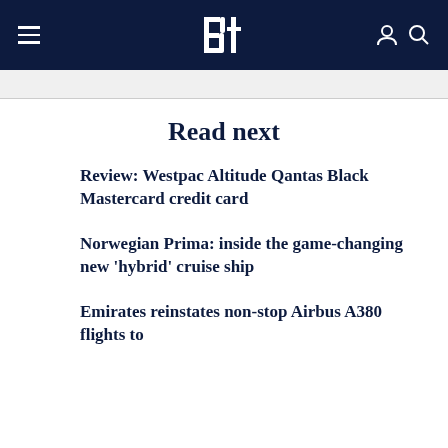Bt — navbar with hamburger menu, logo, and icons
Read next
Review: Westpac Altitude Qantas Black Mastercard credit card
Norwegian Prima: inside the game-changing new 'hybrid' cruise ship
Emirates reinstates non-stop Airbus A380 flights to